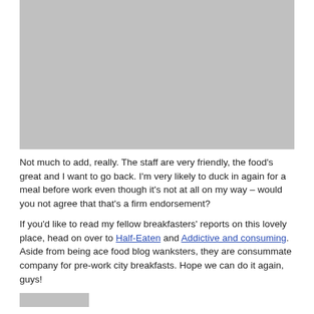[Figure (photo): Gray placeholder image at the top of the page]
Not much to add, really. The staff are very friendly, the food's great and I want to go back. I'm very likely to duck in again for a meal before work even though it's not at all on my way – would you not agree that that's a firm endorsement?
If you'd like to read my fellow breakfasters' reports on this lovely place, head on over to Half-Eaten and Addictive and consuming. Aside from being ace food blog wanksters, they are consummate company for pre-work city breakfasts. Hope we can do it again, guys!
[Figure (other): Gray rating/image placeholder bar]
*Fr. I'm not a caterer